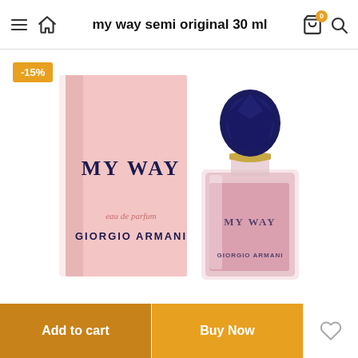my way semi original 30 ml
[Figure (photo): Giorgio Armani My Way Eau de Parfum 30ml perfume bottle next to its pink box. The bottle has a clear glass body with pink liquid inside, a navy blue faceted cap with a gold ring, and 'MY WAY' and 'GIORGIO ARMANI' lettering on the bottle. The pink box shows 'MY WAY', 'eau de parfum', and 'GIORGIO ARMANI' in navy text. A yellow -15% discount badge is shown in the top-left corner.]
-15%
Add to cart
Buy Now